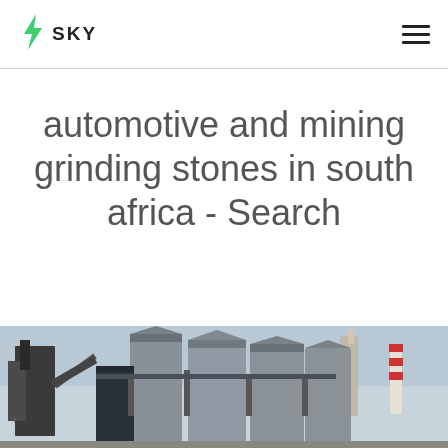SKY
automotive and mining grinding stones in south africa - Search
[Figure (photo): Industrial facility with large metal silos and mining/processing equipment, photographed outdoors]